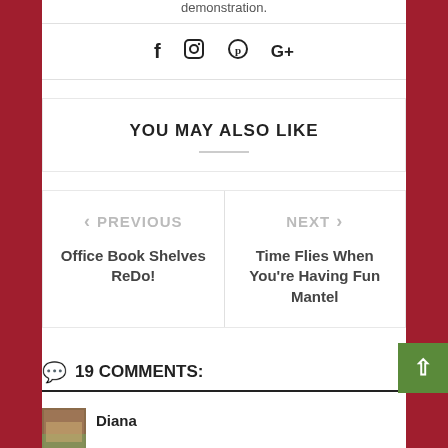demonstration.
[Figure (infographic): Social media icons bar: Facebook (f), Instagram (camera), Pinterest (p), Google+ (g+)]
YOU MAY ALSO LIKE
< PREVIOUS
Office Book Shelves ReDo!
NEXT >
Time Flies When You're Having Fun Mantel
19 COMMENTS:
Diana